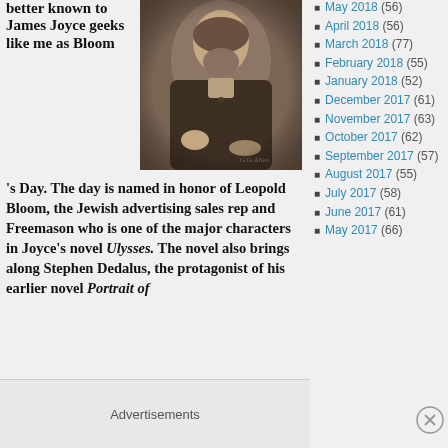better known to James Joyce geeks like me as Bloom 's Day. The day is named in honor of Leopold Bloom, the Jewish advertising sales rep and Freemason who is one of the major characters in Joyce's novel Ulysses. The novel also brings along Stephen Dedalus, the protagonist of his earlier novel Portrait of
[Figure (photo): Sepia-toned portrait photograph of a bearded man in dark clothing, seated, facing slightly left.]
May 2018 (56)
April 2018 (56)
March 2018 (77)
February 2018 (55)
January 2018 (52)
December 2017 (61)
November 2017 (63)
October 2017 (62)
September 2017 (57)
August 2017 (55)
July 2017 (58)
June 2017 (61)
May 2017 (66)
Advertisements